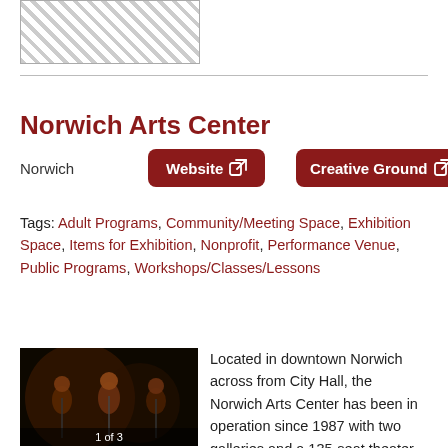[Figure (photo): Hatched placeholder image at top of page]
Norwich Arts Center
Norwich
Website
Creative Ground
Tags: Adult Programs, Community/Meeting Space, Exhibition Space, Items for Exhibition, Nonprofit, Performance Venue, Public Programs, Workshops/Classes/Lessons
[Figure (photo): Photo of three performers on stage in dark lighting, labeled 1 of 3]
Located in downtown Norwich across from City Hall, the Norwich Arts Center has been in operation since 1987 with two galleries and a 135-seat theater. We host musical,